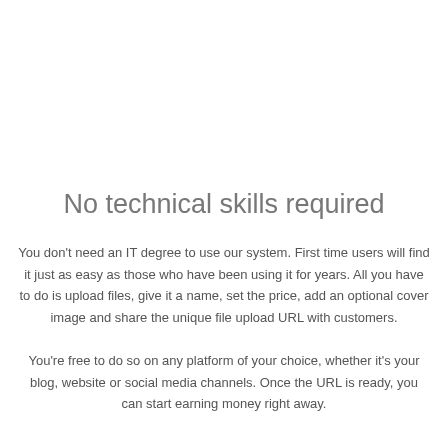No technical skills required
You don't need an IT degree to use our system. First time users will find it just as easy as those who have been using it for years. All you have to do is upload files, give it a name, set the price, add an optional cover image and share the unique file upload URL with customers.
You're free to do so on any platform of your choice, whether it's your blog, website or social media channels. Once the URL is ready, you can start earning money right away.